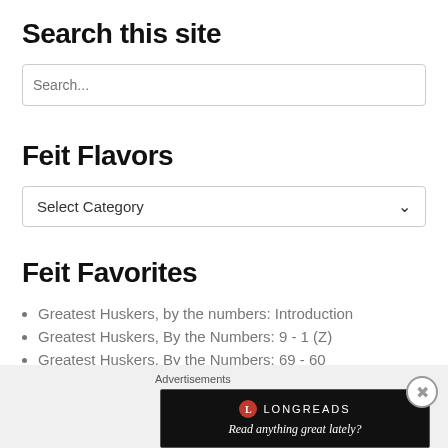Search this site
[Figure (screenshot): Search input box with placeholder text 'Search...']
Feit Flavors
[Figure (screenshot): Dropdown selector showing 'Select Category' with down arrow]
Feit Favorites
Greatest Huskers, by the numbers: Introduction
Greatest Huskers, By the Numbers: 9 - 1 (Z)
Greatest Huskers, By the Numbers: 69 - 60
Greatest Huskers, By the Numbers: 29 - 20 (H)
[Figure (screenshot): Advertisement banner for Longreads with tagline 'Read anything great lately?']